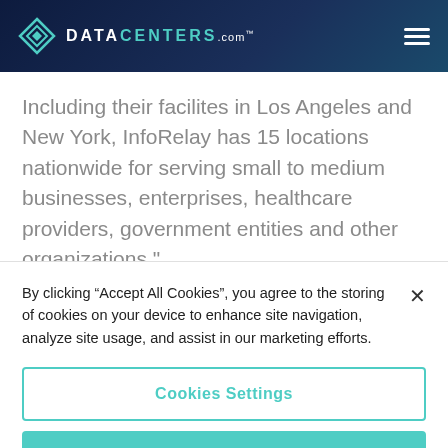DATACENTERS.com
Including their facilites in Los Angeles and New York, InfoRelay has 15 locations nationwide for serving small to medium businesses, enterprises, healthcare providers, government entities and other organizations."
By clicking “Accept All Cookies”, you agree to the storing of cookies on your device to enhance site navigation, analyze site usage, and assist in our marketing efforts.
Cookies Settings
Reject All
Accept All Cookies